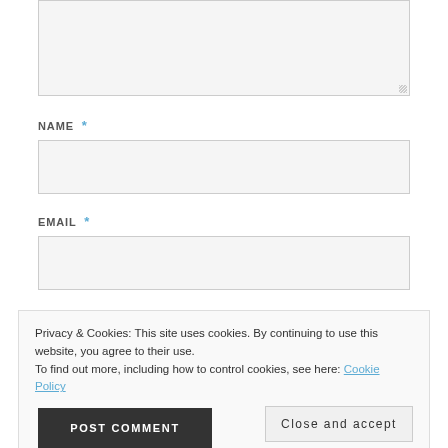[Figure (screenshot): Partial textarea input box cropped at top of page with resize handle at bottom-right corner]
NAME *
[Figure (screenshot): Empty text input field for NAME]
EMAIL *
[Figure (screenshot): Empty text input field for EMAIL]
Privacy & Cookies: This site uses cookies. By continuing to use this website, you agree to their use. To find out more, including how to control cookies, see here: Cookie Policy
Close and accept
POST COMMENT